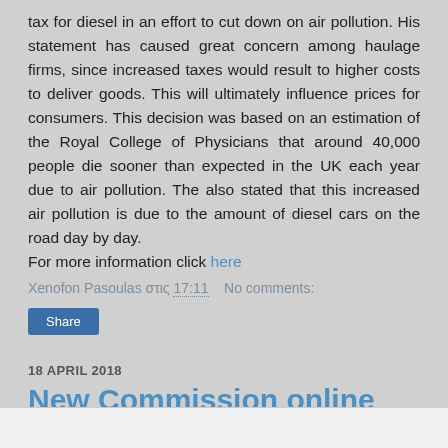tax for diesel in an effort to cut down on air pollution. His statement has caused great concern among haulage firms, since increased taxes would result to higher costs to deliver goods. This will ultimately influence prices for consumers. This decision was based on an estimation of the Royal College of Physicians that around 40,000 people die sooner than expected in the UK each year due to air pollution. The also stated that this increased air pollution is due to the amount of diesel cars on the road day by day.
For more information click here
Xenofon Pasoulas στις 17:11   No comments:
Share
18 APRIL 2018
New Commission online tool to measure fuel costs and CO2 emissions of your car journey